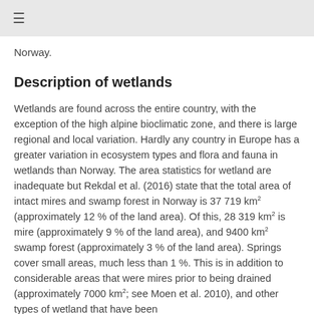≡
Norway.
Description of wetlands
Wetlands are found across the entire country, with the exception of the high alpine bioclimatic zone, and there is large regional and local variation. Hardly any country in Europe has a greater variation in ecosystem types and flora and fauna in wetlands than Norway. The area statistics for wetland are inadequate but Rekdal et al. (2016) state that the total area of intact mires and swamp forest in Norway is 37 719 km² (approximately 12 % of the land area). Of this, 28 319 km² is mire (approximately 9 % of the land area), and 9400 km² swamp forest (approximately 3 % of the land area). Springs cover small areas, much less than 1 %. This is in addition to considerable areas that were mires prior to being drained (approximately 7000 km²; see Moen et al. 2010), and other types of wetland that have been